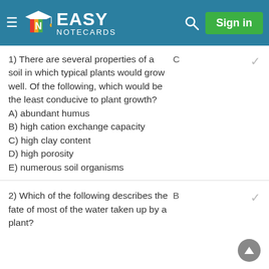Easy Notecards — Sign in
1) There are several properties of a soil in which typical plants would grow well. Of the following, which would be the least conducive to plant growth?
A) abundant humus
B) high cation exchange capacity
C) high clay content
D) high porosity
E) numerous soil organisms
C
2) Which of the following describes the fate of most of the water taken up by a plant?
B